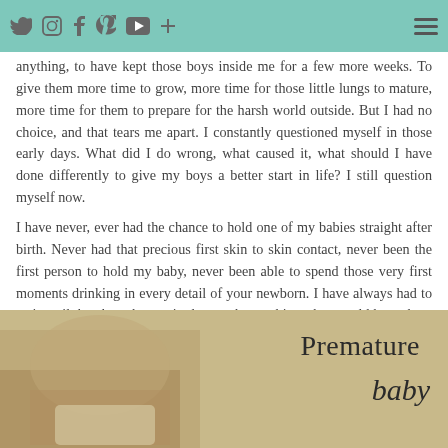wired up to machines and tubes (you can read their birth stories here if...
anything, to have kept those boys inside me for a few more weeks. To give them more time to grow, more time for those little lungs to mature, more time for them to prepare for the harsh world outside. But I had no choice, and that tears me apart. I constantly questioned myself in those early days. What did I do wrong, what caused it, what should I have done differently to give my boys a better start in life? I still question myself now.

I have never, ever had the chance to hold one of my babies straight after birth. Never had that precious first skin to skin contact, never been the first person to hold my baby, never been able to spend those very first moments drinking in every detail of your newborn. I have always had to wait until they have been wired up to the machines that would keep them alive until they were strong enough to breathe and feed themselves.
[Figure (photo): Sepia-toned photo of a premature baby with 'Premature baby' text overlay in the top right corner]